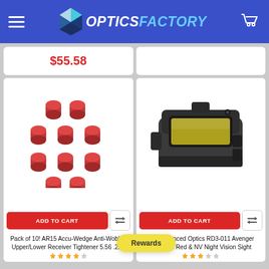OpticsFACTORY
$55.58
[Figure (photo): Pack of 10 red AR15 Accu-Wedge Anti-Wobble upper/lower receiver tighteners scattered on white background]
[Figure (photo): Ade Advanced Optics RD3-011 Avenger Premium Red dot and NV Night Vision Sight, black body with yellow lens, against white background]
ADD TO CART
ADD TO CART
Pack of 10! AR15 Accu-Wedge Anti-Wobble Upper/Lower Receiver Tightener 5.56 .223
Ade Advanced Optics RD3-011 Avenger Premium Red & NV Night Vision Sight
Rewards